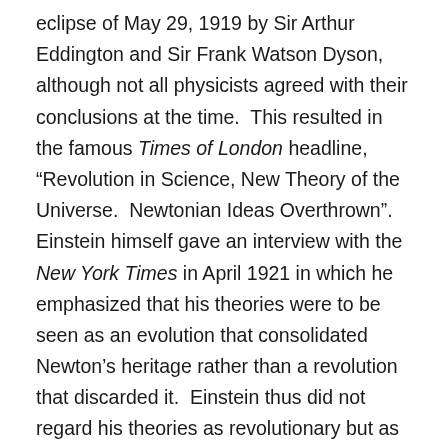eclipse of May 29, 1919 by Sir Arthur Eddington and Sir Frank Watson Dyson, although not all physicists agreed with their conclusions at the time.  This resulted in the famous Times of London headline, “Revolution in Science, New Theory of the Universe.  Newtonian Ideas Overthrown”.  Einstein himself gave an interview with the New York Times in April 1921 in which he emphasized that his theories were to be seen as an evolution that consolidated Newton’s heritage rather than a revolution that discarded it.  Einstein thus did not regard his theories as revolutionary but as a systematic development of earlier approaches. But it was too late for popular media in Britain and the US, where he was lionized as the revolutionary thinker who had overthrown scientific orthodoxy.
Oddly enough, while the US and Britain heralded him,